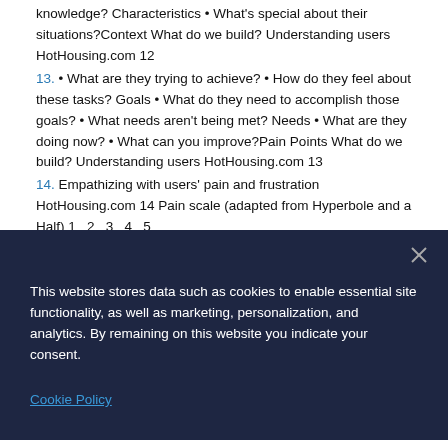knowledge? Characteristics • What's special about their situations?Context What do we build? Understanding users HotHousing.com 12
13. • What are they trying to achieve? • How do they feel about these tasks? Goals • What do they need to accomplish those goals? • What needs aren't being met? Needs • What are they doing now? • What can you improve?Pain Points What do we build? Understanding users HotHousing.com 13
14. Empathizing with users' pain and frustration HotHousing.com 14 Pain scale (adapted from Hyperbole and a Half) 1   2   3   4   5
15. Being heard Cash or goodies Knowing what's coming
This website stores data such as cookies to enable essential site functionality, as well as marketing, personalization, and analytics. By remaining on this website you indicate your consent.
Cookie Policy
do, and what they say they do are entirely different things."